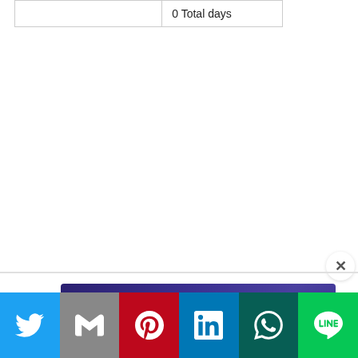|  | 0 Total days |
[Figure (screenshot): Advertisement banner for SecurityScorecard: 'The Forrester New Wave™: Cybersecurity Risk Rating Platforms, Q1 2021' with a yellow 'READ THE REPORT' button on a dark purple background.]
[Figure (screenshot): Social sharing bar with buttons for Twitter (blue), Gmail (gray), Pinterest (red), LinkedIn (blue), WhatsApp (dark green), and Line (green).]